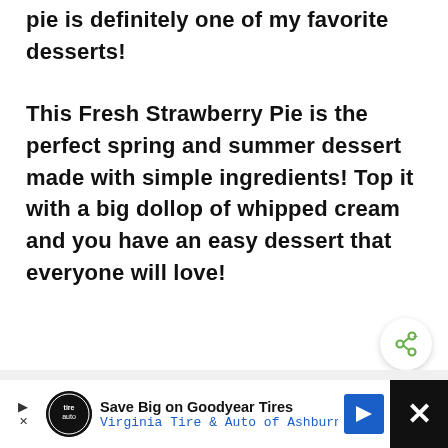pie is definitely one of my favorite desserts!
This Fresh Strawberry Pie is the perfect spring and summer dessert made with simple ingredients! Top it with a big dollop of whipped cream and you have an easy dessert that everyone will love!
[Figure (screenshot): Video/image placeholder area with share button overlay and What's Next panel showing Steak Fajita Pasta Salad]
[Figure (screenshot): Advertisement banner: Save Big on Goodyear Tires - Virginia Tire & Auto of Ashburn, with close button]